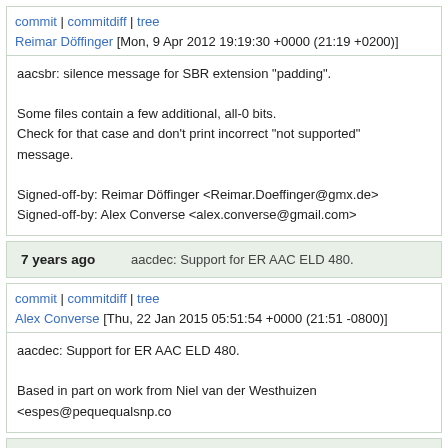commit | commitdiff | tree
Reimar Döffinger [Mon, 9 Apr 2012 19:19:30 +0000 (21:19 +0200)]
aacsbr: silence message for SBR extension "padding".

Some files contain a few additional, all-0 bits.
Check for that case and don't print incorrect "not supported" message.

Signed-off-by: Reimar Döffinger <Reimar.Doeffinger@gmx.de>
Signed-off-by: Alex Converse <alex.converse@gmail.com>
7 years ago    aacdec: Support for ER AAC ELD 480.
commit | commitdiff | tree
Alex Converse [Thu, 22 Jan 2015 05:51:54 +0000 (21:51 -0800)]
aacdec: Support for ER AAC ELD 480.

Based in part on work from Niel van der Westhuizen <espes@pequequalsnp.co
7 years ago    aacdec: Tables for length 480 AAC ELD.